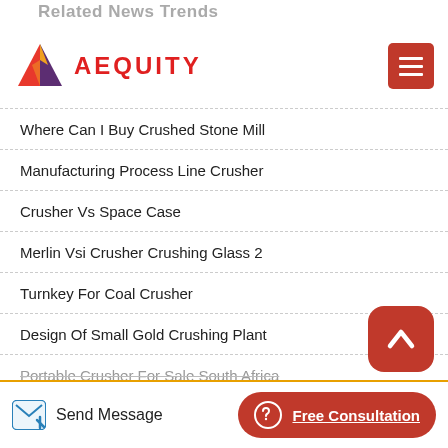Related News Trends
[Figure (logo): AEQUITY logo with colorful diamond/arrow icon and red text]
Where Can I Buy Crushed Stone Mill
Manufacturing Process Line Crusher
Crusher Vs Space Case
Merlin Vsi Crusher Crushing Glass 2
Turnkey For Coal Crusher
Design Of Small Gold Crushing Plant
Portable Crusher For Sale South Africa
Send Message   Free Consultation